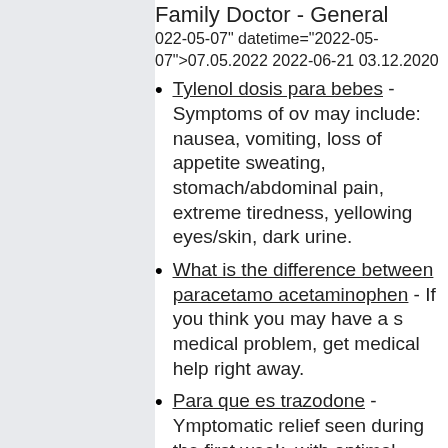Family Doctor - General
022-05-07" datetime="2022-05-07">07.05.2022 2022-06-21 03.12.2020
Tylenol dosis para bebes - Symptoms of ov may include: nausea, vomiting, loss of appetite sweating, stomach/abdominal pain, extreme tiredness, yellowing eyes/skin, dark urine.
What is the difference between paracetamo acetaminophen - If you think you may have a s medical problem, get medical help right away.
Para que es trazodone - Ymptomatic relief seen during the first week, with optimal antidepressant effects typically evident within t weeks.
Cialis pastillas para que sirven - Store at ro temperature away from light and moisture.
Zyprexa hyperglycemia - Before taking olar